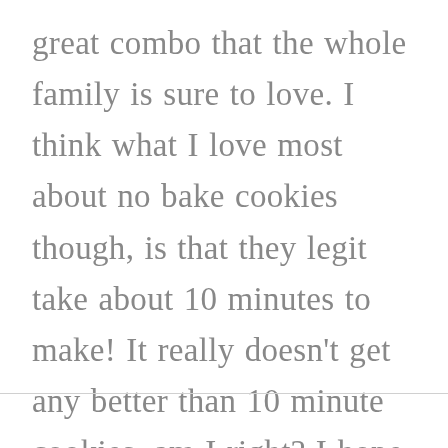great combo that the whole family is sure to love. I think what I love most about no bake cookies though, is that they legit take about 10 minutes to make! It really doesn't get any better than 10 minute cookies, am I right? I hope you guys are as excited about these cookies and